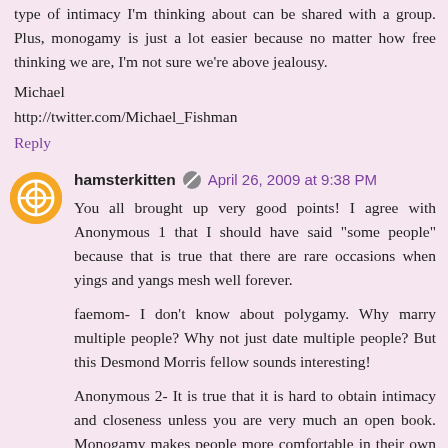type of intimacy I'm thinking about can be shared with a group. Plus, monogamy is just a lot easier because no matter how free thinking we are, I'm not sure we're above jealousy.
Michael
http://twitter.com/Michael_Fishman
Reply
hamsterkitten  April 26, 2009 at 9:38 PM
You all brought up very good points! I agree with Anonymous 1 that I should have said "some people" because that is true that there are rare occasions when yings and yangs mesh well forever.
faemom- I don't know about polygamy. Why marry multiple people? Why not just date multiple people? But this Desmond Morris fellow sounds interesting!
Anonymous 2- It is true that it is hard to obtain intimacy and closeness unless you are very much an open book. Monogamy makes people more comfortable in their own skin sometimes.